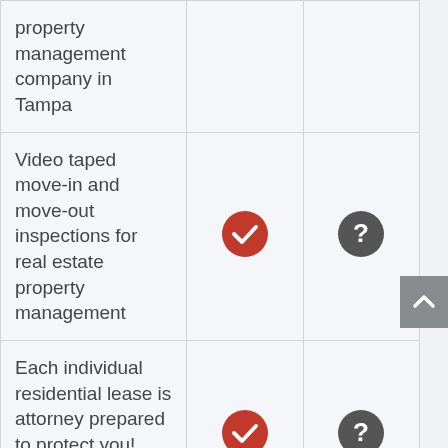| Feature | Us | Other |
| --- | --- | --- |
| property management company in Tampa | ✓ | ? |
| Video taped move-in and move-out inspections for real estate property management | ✓ | ? |
| Each individual residential lease is attorney prepared to protect you! | ✓ | ? |